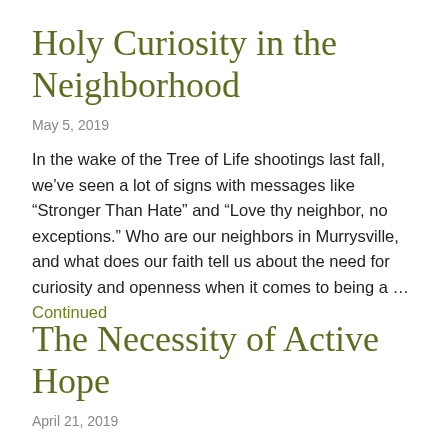Holy Curiosity in the Neighborhood
May 5, 2019
In the wake of the Tree of Life shootings last fall, we’ve seen a lot of signs with messages like “Stronger Than Hate” and “Love thy neighbor, no exceptions.” Who are our neighbors in Murrysville, and what does our faith tell us about the need for curiosity and openness when it comes to being a … Continued
The Necessity of Active Hope
April 21, 2019
Easter Sunday and Earth Day essentially coincide this year. How is it possible to bring an Easter message of …